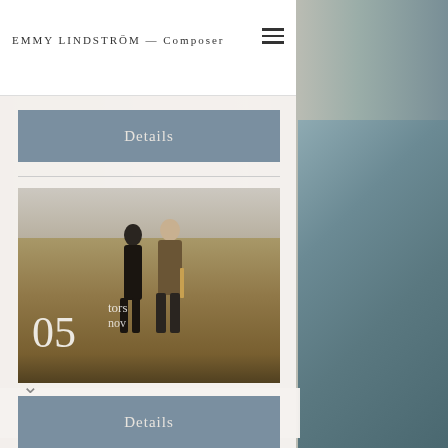EMMY LINDSTRÖM - Composer
Details
[Figure (photo): Two musicians standing in an open field with dry grass. Date overlay shows '05' with 'tors' and 'nov' labels.]
Clarinet concerto – Umeå
Details